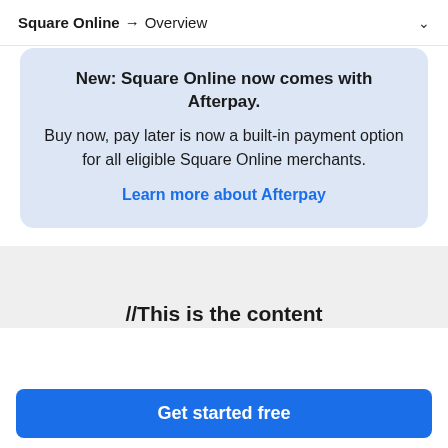Square Online → Overview
New: Square Online now comes with Afterpay. Buy now, pay later is now a built-in payment option for all eligible Square Online merchants. Learn more about Afterpay
//This is the content...
Get started free